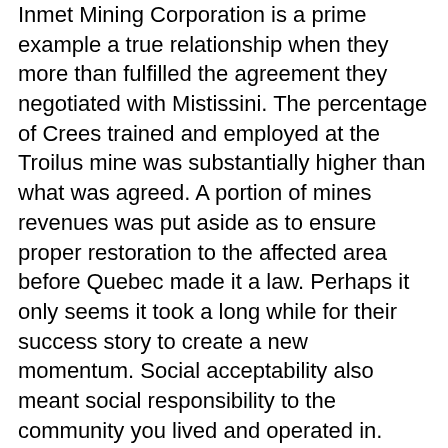Inmet Mining Corporation is a prime example a true relationship when they more than fulfilled the agreement they negotiated with Mistissini. The percentage of Crees trained and employed at the Troilus mine was substantially higher than what was agreed. A portion of mines revenues was put aside as to ensure proper restoration to the affected area before Quebec made it a law. Perhaps it only seems it took a long while for their success story to create a new momentum. Social acceptability also meant social responsibility to the community you lived and operated in. These days, the government and the mining industry seem to have adopted those values and have not only taken them to heart but also made them part of the rule of law here in Quebec.
The future will tell whether the laws have substance. With the acceptance of the mining industry's advance